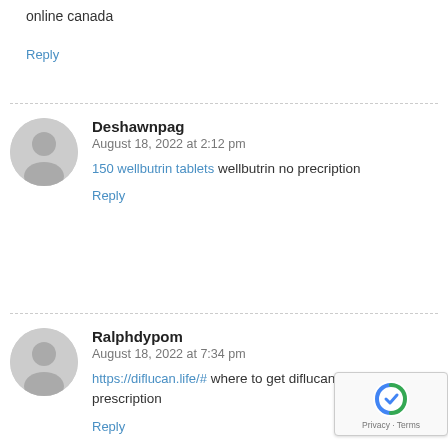online canada
Reply
Deshawnpag
August 18, 2022 at 2:12 pm
150 wellbutrin tablets wellbutrin no precription
Reply
Ralphdypom
August 18, 2022 at 7:34 pm
https://diflucan.life/# where to get diflucan without a prescription
Reply